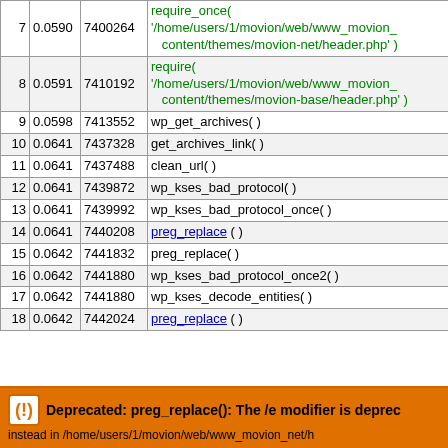| # | Time | Memory | Function |
| --- | --- | --- | --- |
| 7 | 0.0590 | 7400264 | require_once( '/home/users/1/movion/web/www_movion_content/themes/movion-net/header.php' ) |
| 8 | 0.0591 | 7410192 | require( '/home/users/1/movion/web/www_movion_content/themes/movion-base/header.php' ) |
| 9 | 0.0598 | 7413552 | wp_get_archives( ) |
| 10 | 0.0641 | 7437328 | get_archives_link( ) |
| 11 | 0.0641 | 7437488 | clean_url( ) |
| 12 | 0.0641 | 7439872 | wp_kses_bad_protocol( ) |
| 13 | 0.0641 | 7439992 | wp_kses_bad_protocol_once( ) |
| 14 | 0.0641 | 7440208 | preg_replace ( ) |
| 15 | 0.0642 | 7441832 | preg_replace( ) |
| 16 | 0.0642 | 7441880 | wp_kses_bad_protocol_once2( ) |
| 17 | 0.0642 | 7441880 | wp_kses_decode_entities( ) |
| 18 | 0.0642 | 7442024 | preg_replace ( ) |
Deprecated: preg_replace(): The /e modifier is deprecated, use preg_replace_callback instead in /home/users/1/movion/web/www_movion_net/...